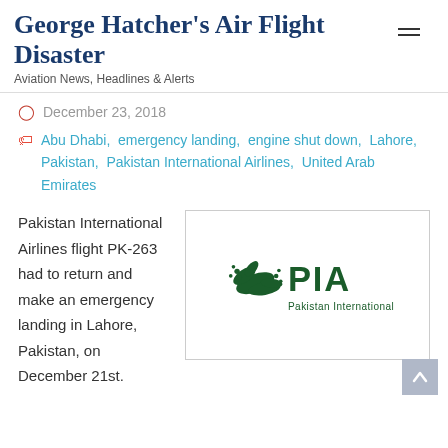George Hatcher's Air Flight Disaster
Aviation News, Headlines & Alerts
December 23, 2018
Abu Dhabi, emergency landing, engine shut down, Lahore, Pakistan, Pakistan International Airlines, United Arab Emirates
Pakistan International Airlines flight PK-263 had to return and make an emergency landing in Lahore, Pakistan, on December 21st.
[Figure (logo): PIA - Pakistan International Airlines logo with green bird emblem and text 'PIA Pakistan International']